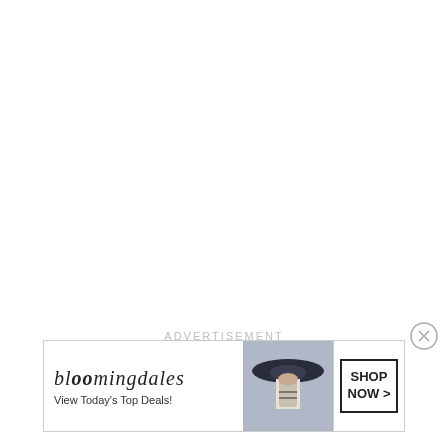ADVERTISEMENT
[Figure (illustration): Close button (X circle) for dismissing the advertisement]
[Figure (illustration): Bloomingdale's advertisement banner: logo text 'bloomingdales', tagline 'View Today's Top Deals!', image of woman wearing a wide-brim hat, and a 'SHOP NOW >' call-to-action button]